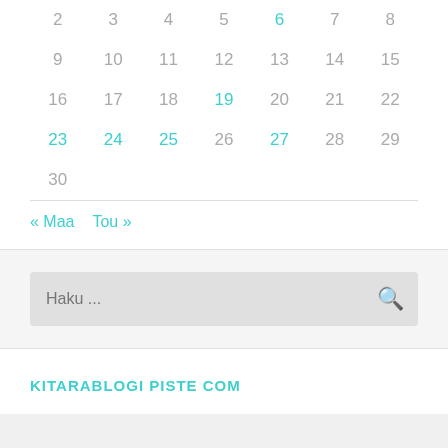| 2 | 3 | 4 | 5 | 6 | 7 | 8 |
| 9 | 10 | 11 | 12 | 13 | 14 | 15 |
| 16 | 17 | 18 | 19 | 20 | 21 | 22 |
| 23 | 24 | 25 | 26 | 27 | 28 | 29 |
| 30 |  |  |  |  |  |  |
« Maa   Tou »
[Figure (other): Search bar with placeholder 'Haku ...' and a magnifying glass icon]
KITARABLOGI PISTE COM